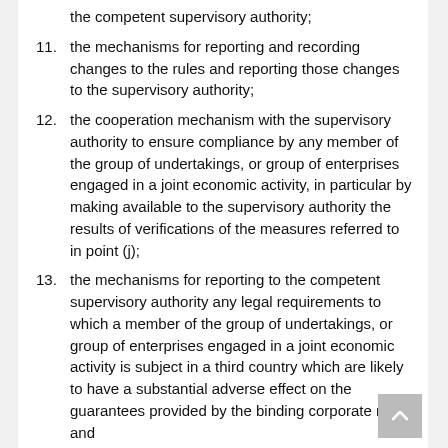the competent supervisory authority;
11. the mechanisms for reporting and recording changes to the rules and reporting those changes to the supervisory authority;
12. the cooperation mechanism with the supervisory authority to ensure compliance by any member of the group of undertakings, or group of enterprises engaged in a joint economic activity, in particular by making available to the supervisory authority the results of verifications of the measures referred to in point (j);
13. the mechanisms for reporting to the competent supervisory authority any legal requirements to which a member of the group of undertakings, or group of enterprises engaged in a joint economic activity is subject in a third country which are likely to have a substantial adverse effect on the guarantees provided by the binding corporate rules; and
14. the appropriate data protection training to personnel having permanent or regular access to